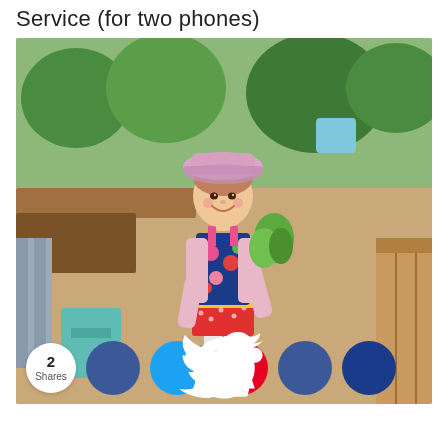Service (for two phones)
[Figure (photo): A smiling young girl in a pink sun hat and floral dress with a pink cardigan, standing in a community garden. She is holding a bunch of lettuce and has a blue basket at her feet filled with garden produce. Raised garden beds and greenery are visible in the background.]
2 Shares